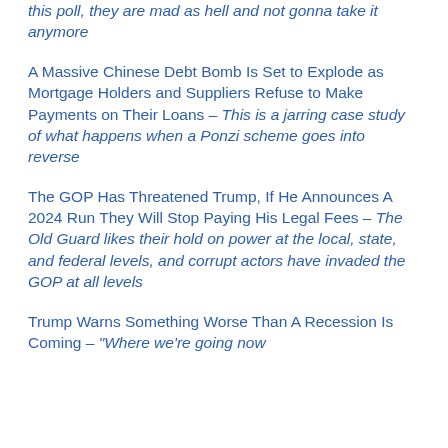this poll, they are mad as hell and not gonna take it anymore
A Massive Chinese Debt Bomb Is Set to Explode as Mortgage Holders and Suppliers Refuse to Make Payments on Their Loans – This is a jarring case study of what happens when a Ponzi scheme goes into reverse
The GOP Has Threatened Trump, If He Announces A 2024 Run They Will Stop Paying His Legal Fees – The Old Guard likes their hold on power at the local, state, and federal levels, and corrupt actors have invaded the GOP at all levels
Trump Warns Something Worse Than A Recession Is Coming – "Where we're going now